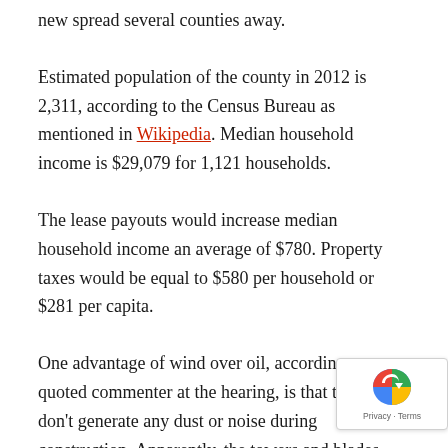new spread several counties away.
Estimated population of the county in 2012 is 2,311, according to the Census Bureau as mentioned in Wikipedia. Median household income is $29,079 for 1,121 households.
The lease payouts would increase median household income an average of $780. Property taxes would be equal to $580 per household or $281 per capita.
One advantage of wind over oil, according to one quoted commenter at the hearing, is that turbines don’t generate any dust or noise during construction. Apparently, the towers and blades arrive by Star Trek transporters. Heavy duty transmission lines presumably grow themselves.